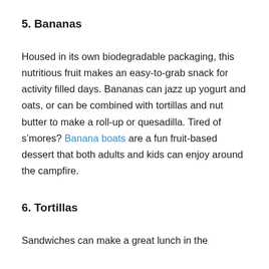5. Bananas
Housed in its own biodegradable packaging, this nutritious fruit makes an easy-to-grab snack for activity filled days. Bananas can jazz up yogurt and oats, or can be combined with tortillas and nut butter to make a roll-up or quesadilla. Tired of s’mores? Banana boats are a fun fruit-based dessert that both adults and kids can enjoy around the campfire.
6. Tortillas
Sandwiches can make a great lunch in the